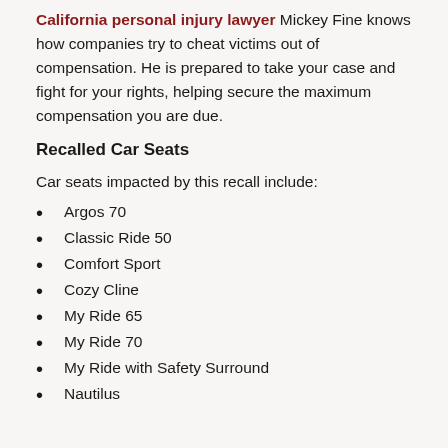California personal injury lawyer Mickey Fine knows how companies try to cheat victims out of compensation. He is prepared to take your case and fight for your rights, helping secure the maximum compensation you are due.
Recalled Car Seats
Car seats impacted by this recall include:
Argos 70
Classic Ride 50
Comfort Sport
Cozy Cline
My Ride 65
My Ride 70
My Ride with Safety Surround
Nautilus